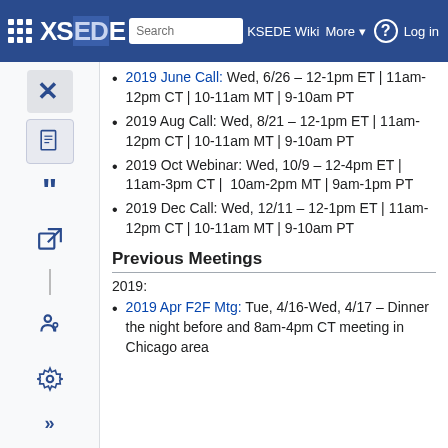XSEDE Wiki — navigation bar with search, More, help, Log in
2019 June Call: Wed, 6/26 – 12-1pm ET | 11am-12pm CT | 10-11am MT | 9-10am PT
2019 Aug Call: Wed, 8/21 – 12-1pm ET | 11am-12pm CT | 10-11am MT | 9-10am PT
2019 Oct Webinar: Wed, 10/9 – 12-4pm ET | 11am-3pm CT |  10am-2pm MT | 9am-1pm PT
2019 Dec Call: Wed, 12/11 – 12-1pm ET | 11am-12pm CT | 10-11am MT | 9-10am PT
Previous Meetings
2019:
2019 Apr F2F Mtg: Tue, 4/16-Wed, 4/17 – Dinner the night before and 8am-4pm CT meeting in Chicago area